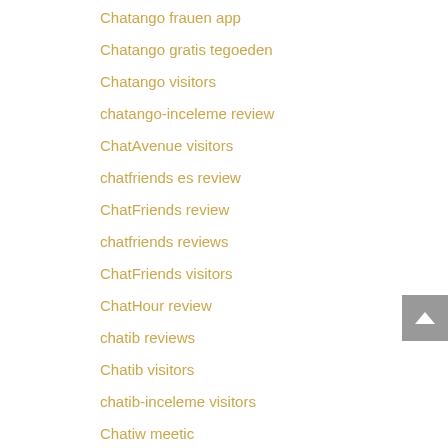Chatango frauen app
Chatango gratis tegoeden
Chatango visitors
chatango-inceleme review
ChatAvenue visitors
chatfriends es review
ChatFriends review
chatfriends reviews
ChatFriends visitors
ChatHour review
chatib reviews
Chatib visitors
chatib-inceleme visitors
Chatiw meetic
chatiw review